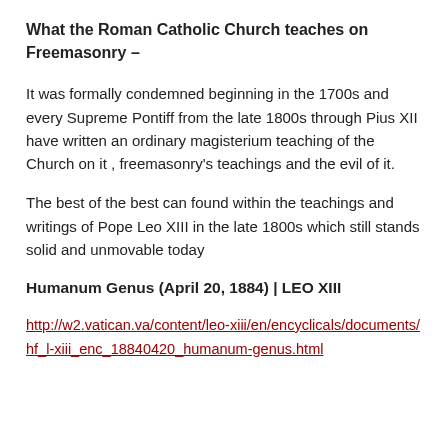What the Roman Catholic Church teaches on Freemasonry –
It was formally condemned beginning in the 1700s and every Supreme Pontiff from the late 1800s through Pius XII have written an ordinary magisterium teaching of the Church on it , freemasonry's teachings and the evil of it.
The best of the best can found within the teachings and writings of Pope Leo XIII in the late 1800s which still stands solid and unmovable today
Humanum Genus (April 20, 1884) | LEO XIII
http://w2.vatican.va/content/leo-xiii/en/encyclicals/documents/hf_l-xiii_enc_18840420_humanum-genus.html